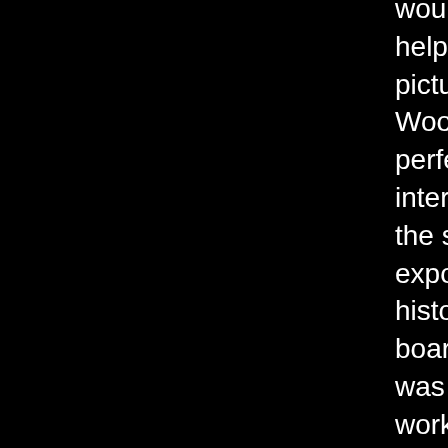would unobtrusively help compose the picture. The back of Woody's head made a perfect someone." The internet is still awaiting the savvy nerd who will expose us to these historically significant board game adverts. It was a brief gig. "I was working there for a short while," Alllen said, "and then I got a phone call asking me if I would be interested in writing on a radio show. And I did write on the radio